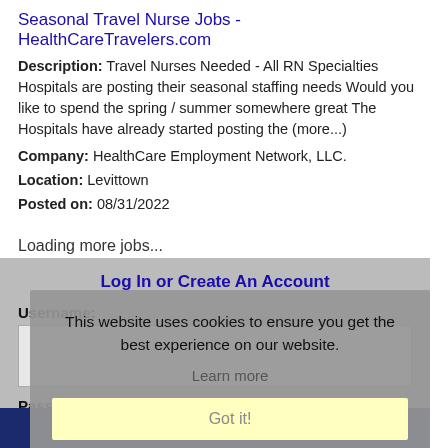Seasonal Travel Nurse Jobs - HealthCareTravelers.com
Description: Travel Nurses Needed - All RN Specialties Hospitals are posting their seasonal staffing needs Would you like to spend the spring / summer somewhere great The Hospitals have already started posting the (more...)
Company: HealthCare Employment Network, LLC.
Location: Levittown
Posted on: 08/31/2022
Loading more jobs...
Log In or Create An Account
Username:
Password:
This website uses cookies to ensure you get the best experience on our website.
Learn more
Got it!
Log In